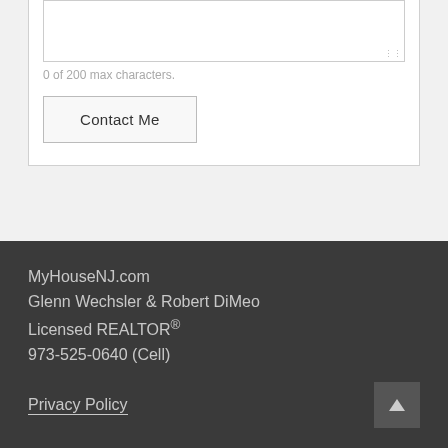[Figure (screenshot): Textarea input box with resize handle at bottom right corner]
0 of 200 max characters.
Contact Me
MyHouseNJ.com
Glenn Wechsler & Robert DiMeo
Licensed REALTOR®
973-525-0640 (Cell)

Privacy Policy